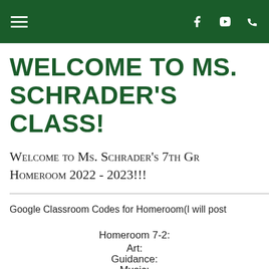Navigation bar with hamburger menu and social icons (Facebook, YouTube, Phone)
WELCOME TO MS. SCHRADER'S CLASS!
Welcome to Ms. Schrader's 7th Gr Homeroom 2022 - 2023!!!
Google Classroom Codes for Homeroom(I will post
Homeroom 7-2:
Art:
Guidance:
Music: